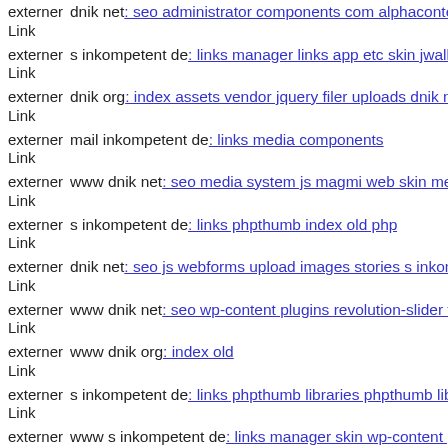externer Link dnik net: seo administrator components com alphacontent a
externer Link s inkompetent de: links manager links app etc skin jwallpap
externer Link dnik org: index assets vendor jquery filer uploads dnik net n
externer Link mail inkompetent de: links media components
externer Link www dnik net: seo media system js magmi web skin media
externer Link s inkompetent de: links phpthumb index old php
externer Link dnik net: seo js webforms upload images stories s inkompet
externer Link www dnik net: seo wp-content plugins revolution-slider ten
externer Link www dnik org: index old
externer Link s inkompetent de: links phpthumb libraries phpthumb lib ph
externer Link www s inkompetent de: links manager skin wp-content plug